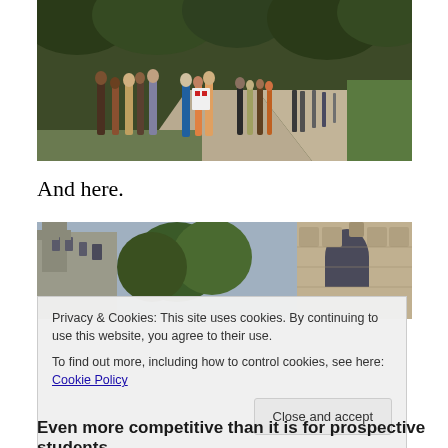[Figure (photo): A long queue of people standing along a tree-lined path in a park during summer, with lush green trees and bushes on either side.]
And here.
[Figure (photo): A Gothic-style cathedral or university building with ornate stone carvings, partly obscured by trees.]
Privacy & Cookies: This site uses cookies. By continuing to use this website, you agree to their use.
To find out more, including how to control cookies, see here: Cookie Policy
Close and accept
Even more competitive than it is for prospective students,